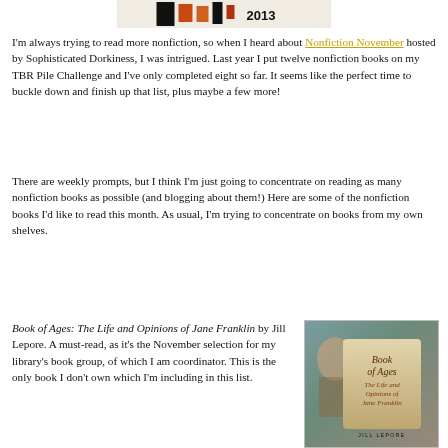[Figure (illustration): Partial image at top of page showing a colorful book cover or banner with the year 2013 visible]
I'm always trying to read more nonfiction, so when I heard about Nonfiction November hosted by Sophisticated Dorkiness, I was intrigued. Last year I put twelve nonfiction books on my TBR Pile Challenge and I've only completed eight so far. It seems like the perfect time to buckle down and finish up that list, plus maybe a few more!
There are weekly prompts, but I think I'm just going to concentrate on reading as many nonfiction books as possible (and blogging about them!) Here are some of the nonfiction books I'd like to read this month. As usual, I'm trying to concentrate on books from my own shelves.
Book of Ages: The Life and Opinions of Jane Franklin by Jill Lepore. A must-read, as it's the November selection for my library's book group, of which I am coordinator. This is the only book I don't own which I'm including in this list.
[Figure (photo): Book cover of 'Book of Ages: The Life and Opinions of Jane Franklin' by Jill Lepore]